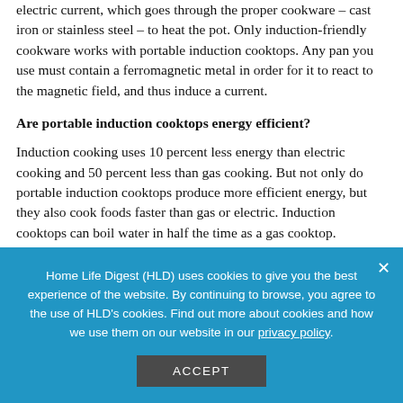electric current, which goes through the proper cookware – cast iron or stainless steel – to heat the pot. Only induction-friendly cookware works with portable induction cooktops. Any pan you use must contain a ferromagnetic metal in order for it to react to the magnetic field, and thus induce a current.
Are portable induction cooktops energy efficient?
Induction cooking uses 10 percent less energy than electric cooking and 50 percent less than gas cooking. But not only do portable induction cooktops produce more efficient energy, but they also cook foods faster than gas or electric. Induction cooktops can boil water in half the time as a gas cooktop.
Home Life Digest (HLD) uses cookies to give you the best experience of the website. By continuing to browse, you agree to the use of HLD's cookies. Find out more about cookies and how we use them on our website in our privacy policy.